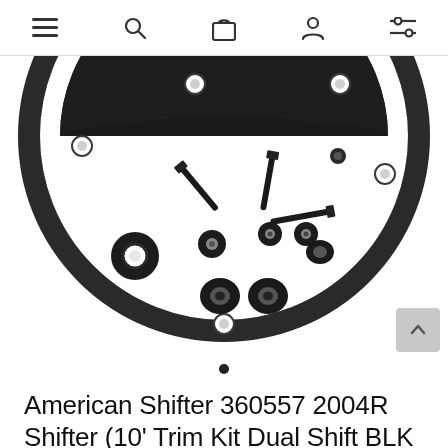Navigation bar with menu, search, cart, account, and filter icons
[Figure (photo): Product photo showing components of an American Shifter 2004R Shifter trim kit: a circular black ring gasket, screws, washers, and rubber grommets arranged on a white background]
•
American Shifter 360557 2004R Shifter (10' Trim Kit Dual Shift BLK Boot Ringed Knob for CC579)